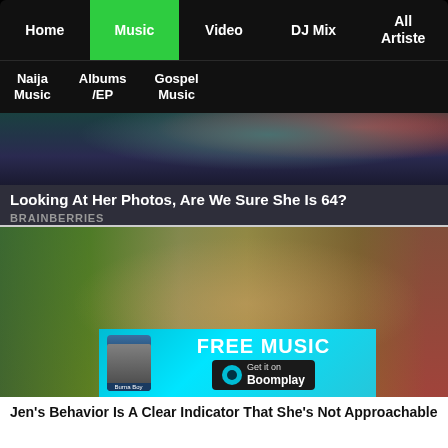Home | Music | Video | DJ Mix | All Artiste
Naija Music | Albums /EP | Gospel Music
[Figure (screenshot): Top portion of a celebrity photo with dark background, teal and red lighting]
Looking At Her Photos, Are We Sure She Is 64?
BRAINBERRIES
[Figure (photo): Woman with long blonde hair sitting on a couch looking up, with a Boomplay FREE MUSIC banner overlay]
FREE MUSIC — Get it on Boomplay
Jen's Behavior Is A Clear Indicator That She's Not Approachable